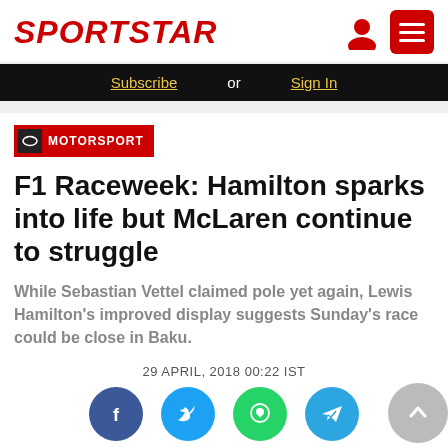SPORTSTAR
Subscribe or Sign In
MOTORSPORT
F1 Raceweek: Hamilton sparks into life but McLaren continue to struggle
While Sebastian Vettel claimed pole yet again, Lewis Hamilton's improved display suggests Sunday's race could be close in Baku.
29 APRIL, 2018 00:22 IST